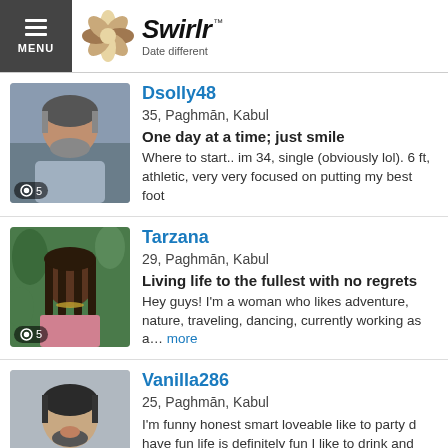Swirlr — Date different
Dsolly48 | 35, Paghmān, Kabul | One day at a time; just smile | Where to start.. im 34, single (obviously lol). 6 ft, athletic, very very focused on putting my best foot
Tarzana | 29, Paghmān, Kabul | Living life to the fullest with no regrets | Hey guys! I'm a woman who likes adventure, nature, traveling, dancing, currently working as a... more
Vanilla286 | 25, Paghmān, Kabul | I'm funny honest smart loveable like to party d have fun life is definitely fun I like to drink and smoke more
Karamel8